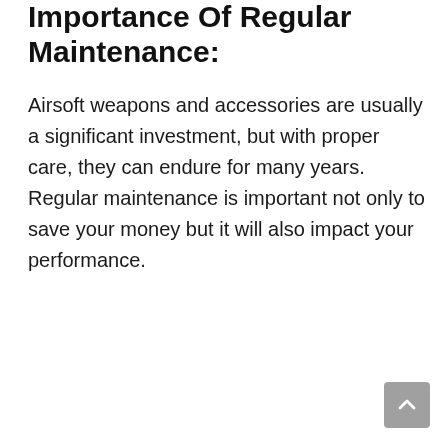Importance Of Regular Maintenance:
Airsoft weapons and accessories are usually a significant investment, but with proper care, they can endure for many years. Regular maintenance is important not only to save your money but it will also impact your performance.